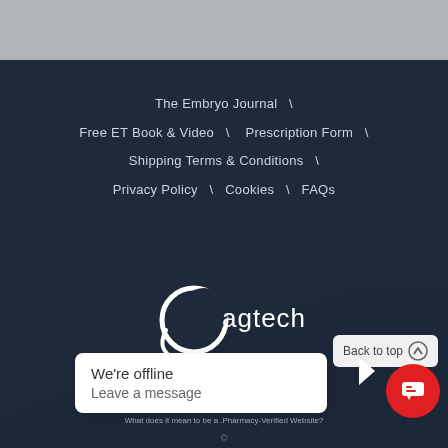The Embryo Journal  \
Free ET Book & Video  \   Prescription Form  \
Shipping Terms & Conditions  \
Privacy Policy  \  Cookies  \  FAQs
[Figure (logo): Agtech logo — crescent/swirl shape with text 'agtech' in white on dark navy background]
[Figure (logo): .pharmacy badge — green square with dot, followed by text 'pharmacy' in dark navy/teal]
What does it mean to be a .Pharmacy-Verified Website?
Back to top
We're offline
Leave a message